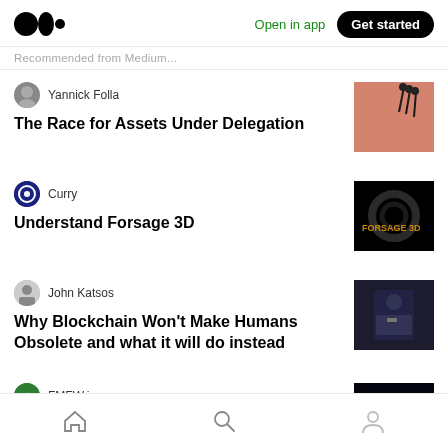Medium app header with logo, Open in app, Get started
Recommended from Medium
Yannick Folla
The Race for Assets Under Delegation
[Figure (photo): Thumbnail image of runners on a track]
Curry
Understand Forsage 3D
[Figure (photo): Dark thumbnail with FORSAGE 3D text in orange]
John Katsos
Why Blockchain Won't Make Humans Obsolete and what it will do instead
[Figure (photo): Thumbnail of a person in a suit]
FMFW.io
[Figure (photo): Thumbnail with Introducing ImmutableX text]
Home, Search, Profile navigation icons